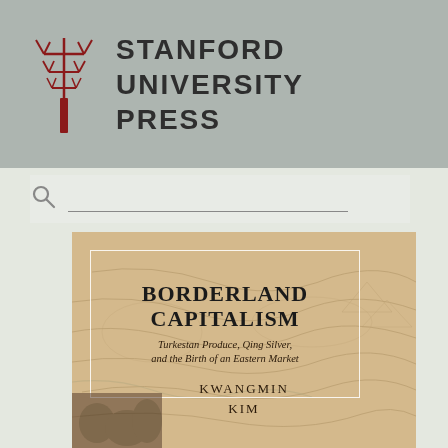[Figure (logo): Stanford University Press logo with red tree icon and bold text reading STANFORD UNIVERSITY PRESS on gray header background]
[Figure (screenshot): Search bar with magnifying glass icon and horizontal line input on light gray background]
[Figure (illustration): Book cover for Borderland Capitalism with tan/beige map background. White-bordered rectangle contains bold title BORDERLAND CAPITALISM and italic subtitle Turkestan Produce, Qing Silver, and the Birth of an Eastern Market. Author name KWANGMIN KIM centered at bottom.]